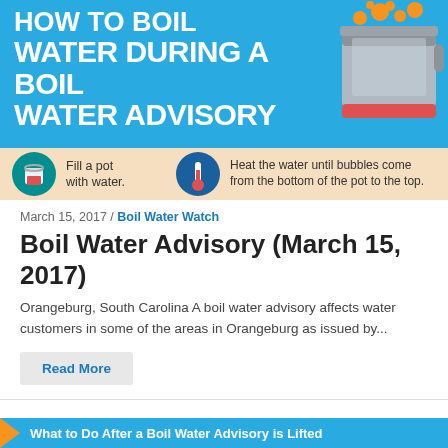[Figure (infographic): How to Boil Water During a Boil Water Advisory infographic banner showing a boiling pot of water on a blue background, with steps: Fill a pot with water (teal circle icon with bucket), Heat the water until bubbles come from the bottom of the pot to the top (blue circle with thermometer icon), on a peach background strip.]
March 15, 2017 / Boil Water Watch
Boil Water Advisory (March 15, 2017)
Orangeburg, South Carolina A boil water advisory affects water customers in some of the areas in Orangeburg as issued by...
Read More
[Figure (infographic): What to Do After a Boil Water Advisory is Lifted — partial banner visible at the bottom of page in blue with orange arrow accent.]